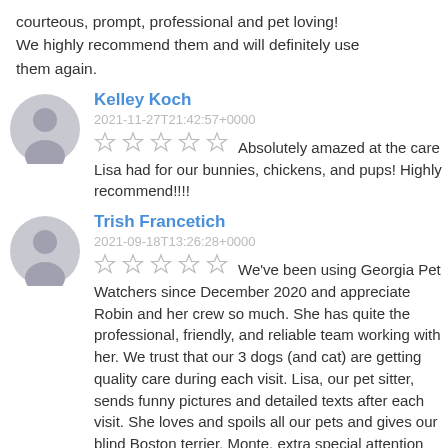courteous, prompt, professional and pet loving! We highly recommend them and will definitely use them again.
Kelley Koch
2021-11-27T21:42:57+0000
Absolutely amazed at the care Lisa had for our bunnies, chickens, and pups! Highly recommend!!!!
Trish Francetich
2021-09-18T13:26:28+0000
We've been using Georgia Pet Watchers since December 2020 and appreciate Robin and her crew so much.  She has quite the professional, friendly, and reliable team working with her.  We trust that our 3 dogs (and cat) are getting quality care during each visit.  Lisa, our pet sitter, sends funny pictures and detailed texts after each visit.  She loves and spoils all our pets and gives our blind Boston terrier, Monte, extra special attention and love.  I highly recommend Georgia